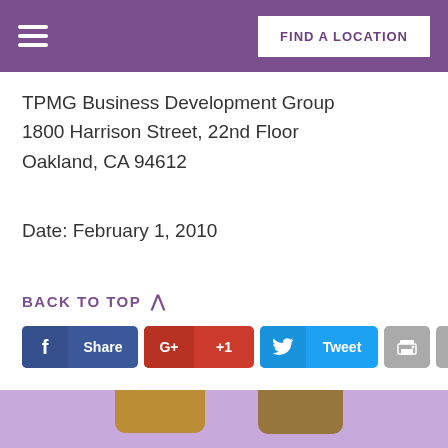FIND A LOCATION
TPMG Business Development Group
1800 Harrison Street, 22nd Floor
Oakland, CA 94612
Date: February 1, 2010
BACK TO TOP ^
[Figure (other): Social sharing buttons: Facebook Share, Google+ +1, Twitter Tweet, Print, Email]
[Figure (photo): Two people smiling, a man and a woman, on a light purple background]